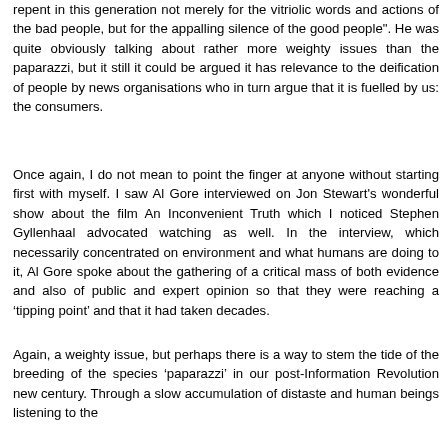repent in this generation not merely for the vitriolic words and actions of the bad people, but for the appalling silence of the good people". He was quite obviously talking about rather more weighty issues than the paparazzi, but it still it could be argued it has relevance to the deification of people by news organisations who in turn argue that it is fuelled by us: the consumers.
Once again, I do not mean to point the finger at anyone without starting first with myself. I saw Al Gore interviewed on Jon Stewart's wonderful show about the film An Inconvenient Truth which I noticed Stephen Gyllenhaal advocated watching as well. In the interview, which necessarily concentrated on environment and what humans are doing to it, Al Gore spoke about the gathering of a critical mass of both evidence and also of public and expert opinion so that they were reaching a ‘tipping point’ and that it had taken decades.
Again, a weighty issue, but perhaps there is a way to stem the tide of the breeding of the species ‘paparazzi’ in our post-Information Revolution new century. Through a slow accumulation of distaste and human beings listening to the